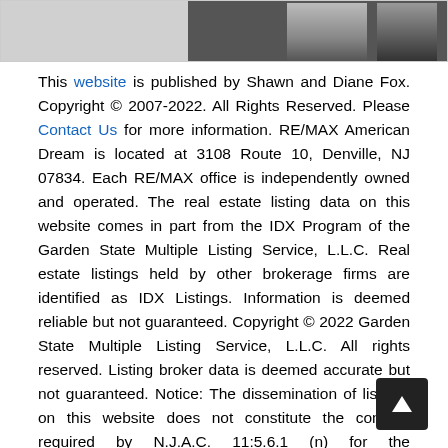[Figure (photo): Top portion of a photo strip showing two people (Shawn and Diane Fox) against a light background, partially cropped at the top of the page.]
This website is published by Shawn and Diane Fox. Copyright © 2007-2022. All Rights Reserved. Please Contact Us for more information. RE/MAX American Dream is located at 3108 Route 10, Denville, NJ 07834. Each RE/MAX office is independently owned and operated. The real estate listing data on this website comes in part from the IDX Program of the Garden State Multiple Listing Service, L.L.C. Real estate listings held by other brokerage firms are identified as IDX Listings. Information is deemed reliable but not guaranteed. Copyright © 2022 Garden State Multiple Listing Service, L.L.C. All rights reserved. Listing broker data is deemed accurate but not guaranteed. Notice: The dissemination of listings on this website does not constitute the consent required by N.J.A.C. 11:5.6.1 (n) for the advertisement of listings exclusively for sale by another broker. Any such consent must be obtained in writing from the listing broker. This information is being provided for Consumers' personal, non-commercial use and may not be used for any purpose other than to identify prospective properties Consumers may be interested in purchasing. The site features thousands of properties for sale and rent in Northern